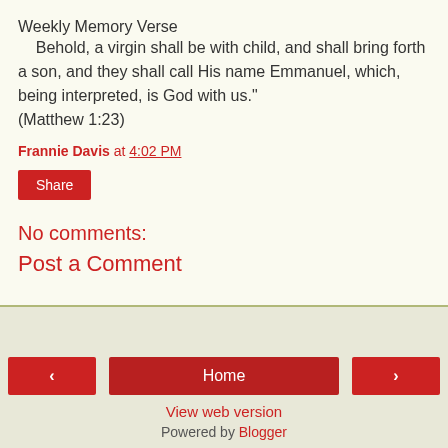Weekly Memory Verse
Behold, a virgin shall be with child, and shall bring forth a son, and they shall call His name Emmanuel, which, being interpreted, is God with us." (Matthew 1:23)
Frannie Davis at 4:02 PM
Share
No comments:
Post a Comment
< Home > View web version Powered by Blogger